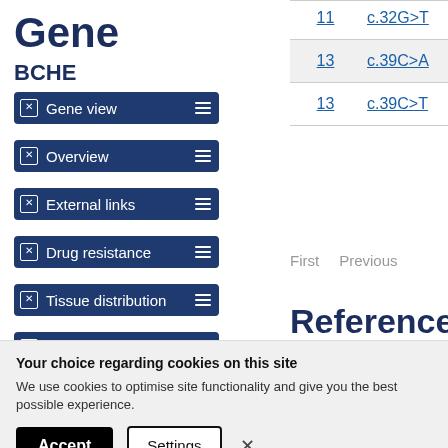Gene
BCHE
Gene view
Overview
External links
Drug resistance
Tissue distribution
Genome browser
Mutation distribution
|  |  |
| --- | --- |
| 11 | c.32G>T |
| 13 | c.39C>A |
| 13 | c.39C>T |
First   Previous
References
Your choice regarding cookies on this site
We use cookies to optimise site functionality and give you the best possible experience.
Accept   Settings   ×